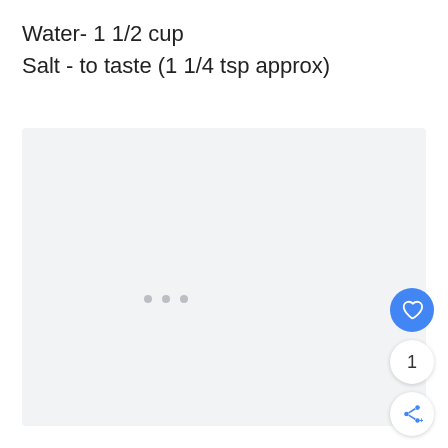Water- 1 1/2 cup
Salt - to taste (1 1/4 tsp approx)
[Figure (other): Large gray content loading area with three gray dots indicating loading state, and floating action buttons on the right: a blue heart/favorite button, a count badge showing 1, and a white share button.]